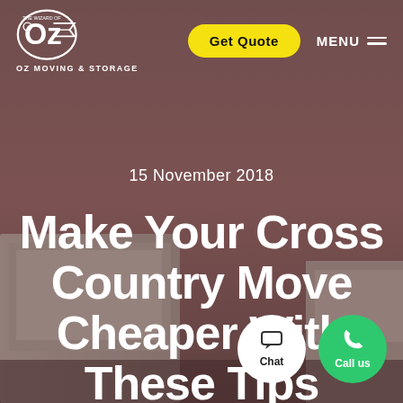[Figure (photo): Background photo of a moving truck, partially visible, with a mauve/dusty rose sky and overlay.]
OZ MOVING & STORAGE — Get Quote — MENU
15 November 2018
Make Your Cross Country Move Cheaper With These Tips